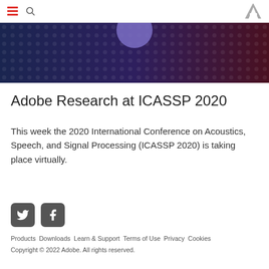Adobe Research at ICASSP 2020 — site navigation (hamburger, search, Adobe logo)
[Figure (illustration): Dark banner image with dotted/hexagonal pattern in dark blue and purple/red tones, with a purple circle shape near center-top]
Adobe Research at ICASSP 2020
This week the 2020 International Conference on Acoustics, Speech, and Signal Processing (ICASSP 2020) is taking place virtually.
[Figure (logo): Twitter and Facebook social media icons (gray rounded square buttons)]
Products  Downloads  Learn & Support  Terms of Use  Privacy  Cookies
Copyright © 2022 Adobe. All rights reserved.